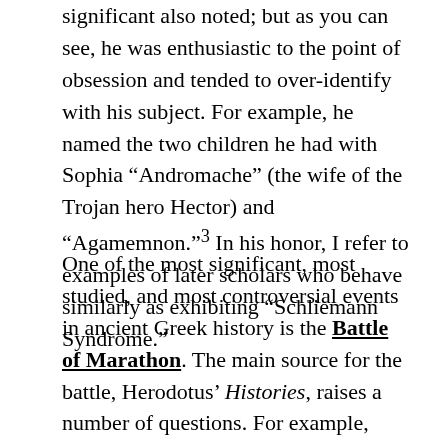significant also noted; but as you can see, he was enthusiastic to the point of obsession and tended to over-identify with his subject. For example, he named the two children he had with Sophia “Andromache” (the wife of the Trojan hero Hector) and “Agamemnon.”³ In his honor, I refer to examples of later scholars who behave similarly as exhibiting “Schliemann Syndrome.”
One of the most significant, most studied, and most controversial events in ancient Greek history is the Battle of Marathon. The main source for the battle, Herodotus’ Histories, raises a number of questions. For example, Herodotus states that the Athenian army advanced on the invading Persian force “at a run.” Many classicists have questioned whether it was physically possible for the heavily armed Athenian hoplite phalanx to do this, especially given that the two armies were a mile apart. How to resolve the question? Run an experiment with American college students. In 1973, two professors at